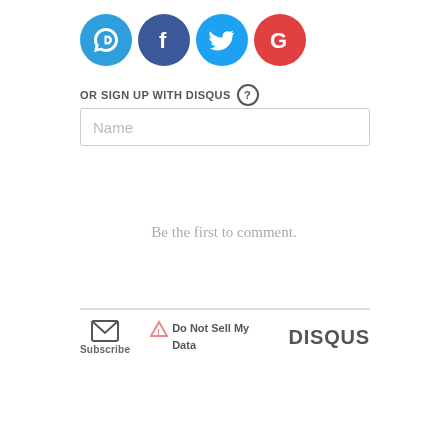[Figure (logo): Four social login icon circles: Disqus (D, light blue), Facebook (f, dark blue), Twitter (bird, light blue), Google (G, red)]
OR SIGN UP WITH DISQUS ?
[Figure (screenshot): Name text input field with placeholder text 'Name']
Be the first to comment.
[Figure (infographic): Footer row with Subscribe (envelope icon), Do Not Sell My Data (warning triangle icon), and DISQUS logo]